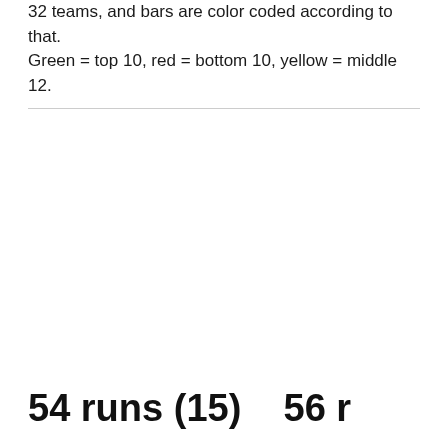32 teams, and bars are color coded according to that. Green = top 10, red = bottom 10, yellow = middle 12.
54 runs (15)    56 r